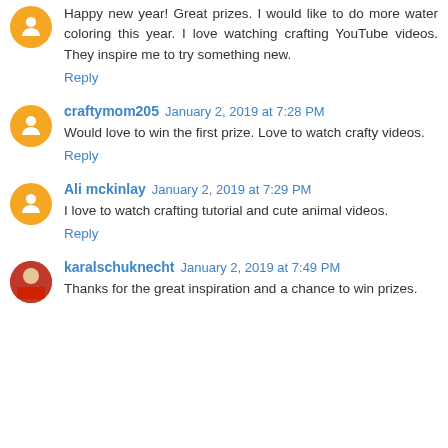Happy new year! Great prizes. I would like to do more water coloring this year. I love watching crafting YouTube videos. They inspire me to try something new.
Reply
craftymom205 January 2, 2019 at 7:28 PM
Would love to win the first prize. Love to watch crafty videos.
Reply
Ali mckinlay January 2, 2019 at 7:29 PM
I love to watch crafting tutorial and cute animal videos.
Reply
karalschuknecht January 2, 2019 at 7:49 PM
Thanks for the great inspiration and a chance to win prizes.